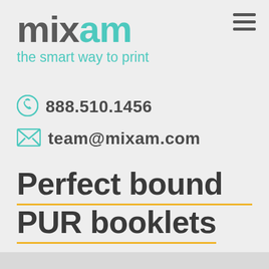[Figure (logo): Mixam logo with 'mix' in gray and 'am' in teal, with tagline 'the smart way to print' in teal below]
[Figure (other): Hamburger menu icon (three horizontal lines) in top right corner]
888.510.1456
team@mixam.com
Perfect bound PUR booklets